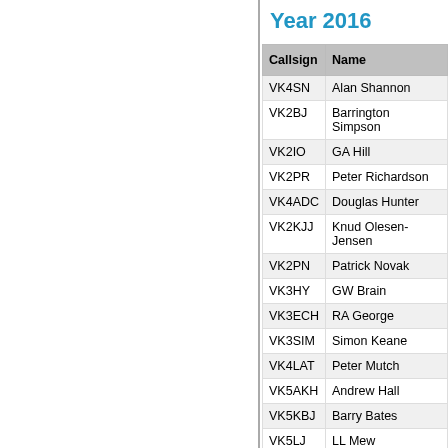Year 2016
| Callsign | Name |
| --- | --- |
| VK4SN | Alan Shannon |
| VK2BJ | Barrington Simpson |
| VK2IO | GA Hill |
| VK2PR | Peter Richardson |
| VK4ADC | Douglas Hunter |
| VK2KJJ | Knud Olesen-Jensen |
| VK2PN | Patrick Novak |
| VK3HY | GW Brain |
| VK3ECH | RA George |
| VK3SIM | Simon Keane |
| VK4LAT | Peter Mutch |
| VK5AKH | Andrew Hall |
| VK5KBJ | Barry Bates |
| VK5LJ | LL Mew |
| VK5PAS | Paul Simmonds |
VK2GR:160, VK2IG:160, VK3AW VK4YZ:140, VK5ZD:140, VK7GM VK7TC:140, VK2EH:140, VK4MA